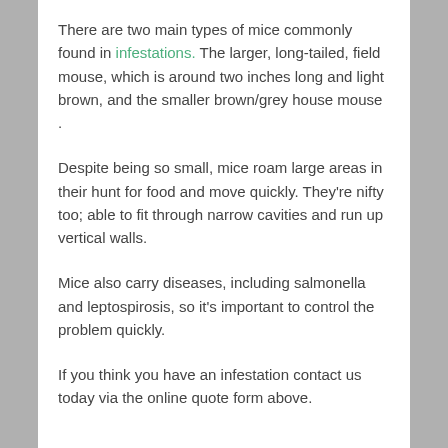There are two main types of mice commonly found in infestations. The larger, long-tailed, field mouse, which is around two inches long and light brown, and the smaller brown/grey house mouse .
Despite being so small, mice roam large areas in their hunt for food and move quickly. They're nifty too; able to fit through narrow cavities and run up vertical walls.
Mice also carry diseases, including salmonella and leptospirosis, so it's important to control the problem quickly.
If you think you have an infestation contact us today via the online quote form above.